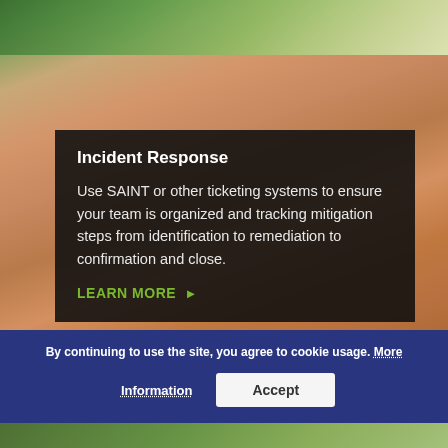[Figure (photo): Background photo of hands using a smartphone/tablet device, with green diagonal stripe at top and bottom. Warm orange and skin-tone tones dominate the mid-section.]
Incident Response
Use SAINT or other ticketing systems to ensure your team is organized and tracking mitigation steps from identification to remediation to confirmation and close.
LEARN MORE ▶
By continuing to use the site, you agree to cookie usage. More Information
Accept